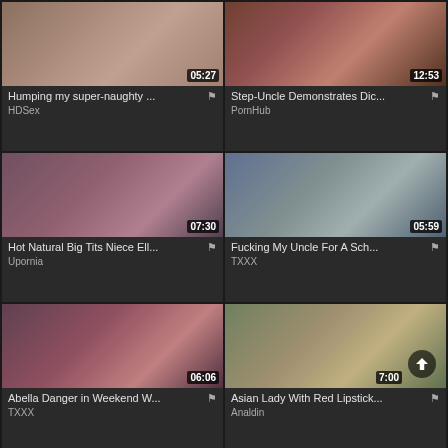[Figure (screenshot): Video thumbnail grid showing 6 adult video thumbnails with titles, sources, and durations]
Humping my super-naughty ...
HDSex
Step-Uncle Demonstrates Dic...
PornHub
Hot Natural Big Tits Niece Ell...
Upornia
Fucking My Uncle For A Sch...
TXXX
Abella Danger in Weekend W...
TXXX
Asian Lady With Red Lipstick...
Analdin